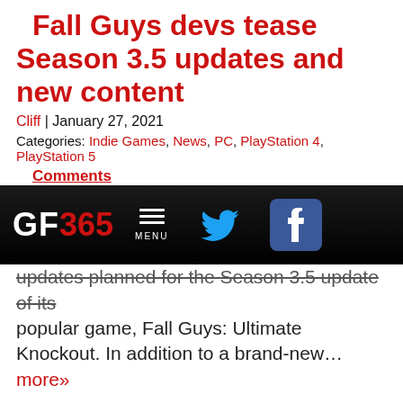Fall Guys devs tease Season 3.5 updates and new content
Cliff | January 27, 2021
Categories: Indie Games, News, PC, PlayStation 4, PlayStation 5
Comments
[Figure (screenshot): GF365 website navigation bar with logo, hamburger menu, Twitter and Facebook icons on dark background]
updates planned for the Season 3.5 update of its popular game, Fall Guys: Ultimate Knockout. In addition to a brand-new…more»
Tags: battle royale, Fall Guys Season 3, Fall Guys: Ultimate Knockout, free DLC, Mediatonic
Game Freaks 365 participates in affiliate programs